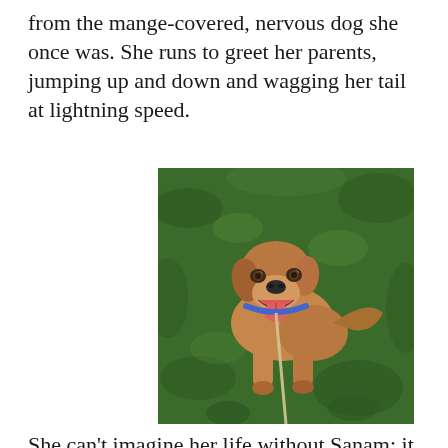from the mange-covered, nervous dog she once was. She runs to greet her parents, jumping up and down and wagging her tail at lightning speed.
[Figure (photo): A tan/brown dog lying on green grass, mouth open and smiling, wearing a blue collar with a leash extending toward the foreground. The dog looks happy and healthy.]
She can't imagine her life without Sanam; it